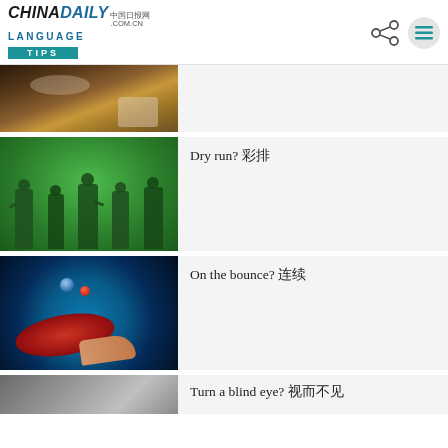CHINADAILY 中国日报网 .COM.CN | LANGUAGE TIPS
[Figure (photo): Food photo, partially visible - top article thumbnail]
[Figure (photo): Green toy soldiers on green background]
Dry run? 彩排
[Figure (photo): Table tennis paddle with ball on blue background]
On the bounce? 连续
[Figure (photo): Black and white portrait photo - partially visible]
Turn a blind eye? 视而不见